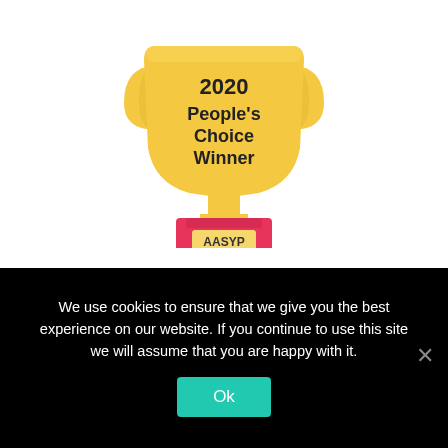[Figure (illustration): Golden trophy cup with text '2020 People's Choice Winner' on the cup body, and a pink/red base with a gold plaque reading 'AASYP Reset', on a black platform]
The People's Choice Winner will be determined through a live public voting
We use cookies to ensure that we give you the best experience on our website. If you continue to use this site we will assume that you are happy with it.